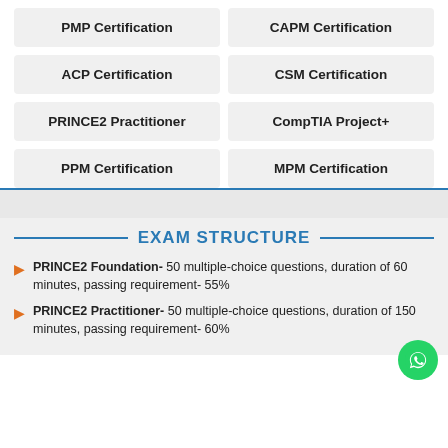PMP Certification
CAPM Certification
ACP Certification
CSM Certification
PRINCE2 Practitioner
CompTIA Project+
PPM Certification
MPM Certification
EXAM STRUCTURE
PRINCE2 Foundation- 50 multiple-choice questions, duration of 60 minutes, passing requirement- 55%
PRINCE2 Practitioner- 50 multiple-choice questions, duration of 150 minutes, passing requirement- 60%